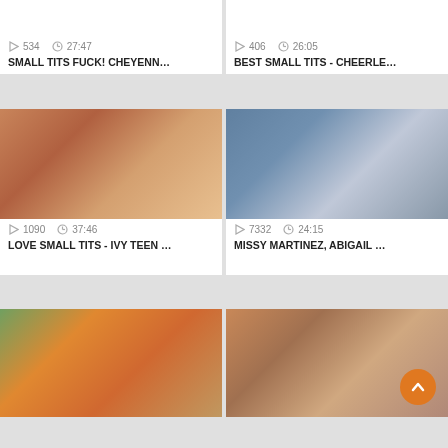534   27:47
SMALL TITS FUCK! CHEYENN...
406   26:05
BEST SMALL TITS - CHEERLE...
[Figure (photo): Thumbnail photo for video]
1090   37:46
LOVE SMALL TITS - IVY TEEN ...
[Figure (photo): Thumbnail photo for video]
7332   24:15
MISSY MARTINEZ, ABIGAIL ...
[Figure (photo): Thumbnail photo for video]
[Figure (photo): Thumbnail photo for video]